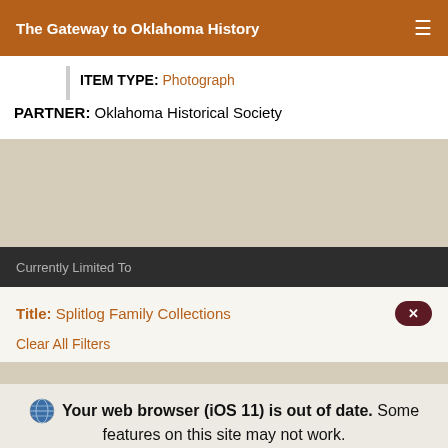The Gateway to Oklahoma History
ITEM TYPE: Photograph
PARTNER: Oklahoma Historical Society
Currently Limited To
Title: Splitlog Family Collections
Clear All Filters
Your web browser (iOS 11) is out of date. Some features on this site may not work.